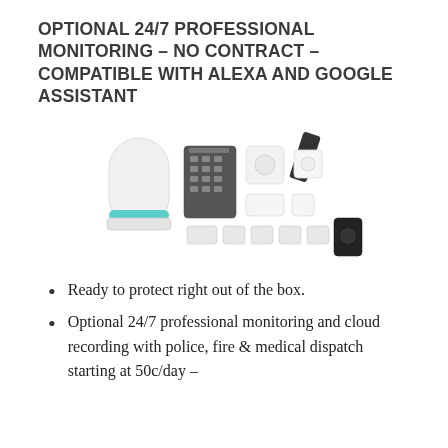OPTIONAL 24/7 PROFESSIONAL MONITORING – NO CONTRACT – COMPATIBLE WITH ALEXA AND GOOGLE ASSISTANT
[Figure (photo): Home security system kit showing a hub device, keypad, sensors, motion detector, door/window sensors, and a camera arranged together on a white background.]
Ready to protect right out of the box.
Optional 24/7 professional monitoring and cloud recording with police, fire & medical dispatch starting at 50c/day –